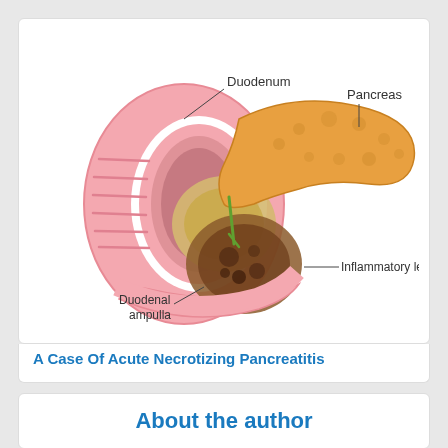[Figure (illustration): Medical illustration of the pancreas and duodenum showing labeled anatomical structures: Duodenum (top left), Pancreas (top right), Inflammatory lesion (right), and Duodenal ampulla (bottom left). Shows necrotic/inflammatory lesion at the junction of the pancreas and duodenum.]
A Case Of Acute Necrotizing Pancreatitis
About the author
[Figure (photo): Circular portrait photo of a female doctor/physician smiling, wearing a stethoscope, with a light blue background.]